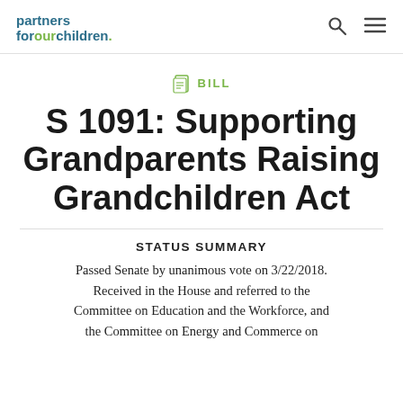partners forourchildren.
BILL
S 1091: Supporting Grandparents Raising Grandchildren Act
STATUS SUMMARY
Passed Senate by unanimous vote on 3/22/2018. Received in the House and referred to the Committee on Education and the Workforce, and the Committee on Energy and Commerce on